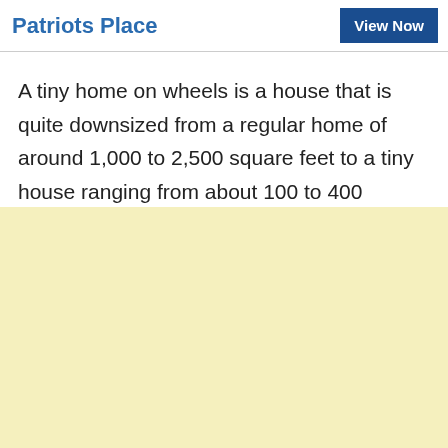Patriots Place
View Now
A tiny home on wheels is a house that is quite downsized from a regular home of around 1,000 to 2,500 square feet to a tiny house ranging from about 100 to 400 square feet.
[Figure (other): Light yellow blank area filling the bottom portion of the page]